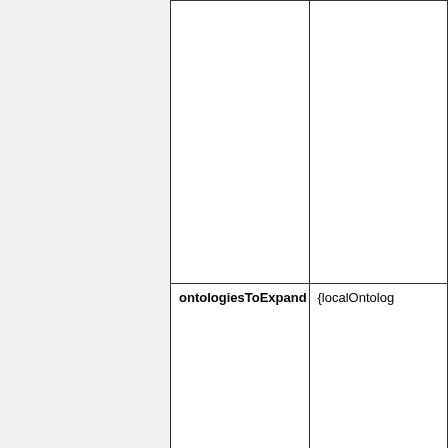|  |  |
| ontologiesToExpand | {localOntolog... |
| ontologiesToKeepInResult | {localOntolog... |